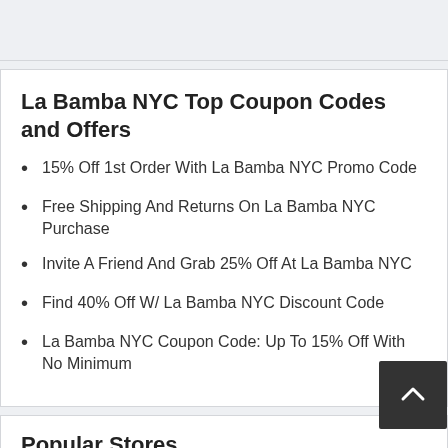La Bamba NYC Top Coupon Codes and Offers
15% Off 1st Order With La Bamba NYC Promo Code
Free Shipping And Returns On La Bamba NYC Purchase
Invite A Friend And Grab 25% Off At La Bamba NYC
Find 40% Off W/ La Bamba NYC Discount Code
La Bamba NYC Coupon Code: Up To 15% Off With No Minimum
Popular Stores
ZoneAlarm	Patriot Software	Kijaro
Beinatree.com	Teapotmart.com	Songmics